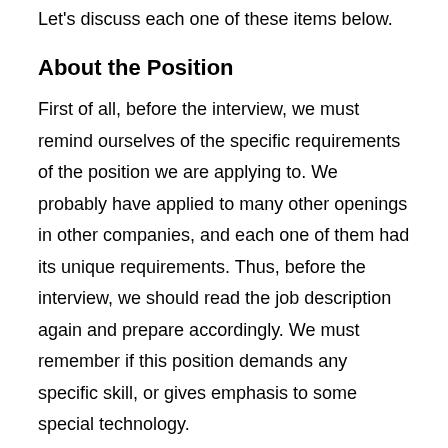Let's discuss each one of these items below.
About the Position
First of all, before the interview, we must remind ourselves of the specific requirements of the position we are applying to. We probably have applied to many other openings in other companies, and each one of them had its unique requirements. Thus, before the interview, we should read the job description again and prepare accordingly. We must remember if this position demands any specific skill, or gives emphasis to some special technology.
About the Department
The position we are applying to is probably related to